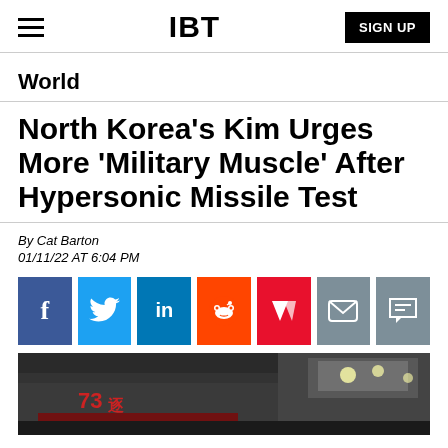IBT | SIGN UP
World
North Korea's Kim Urges More 'Military Muscle' After Hypersonic Missile Test
By Cat Barton
01/11/22 AT 6:04 PM
[Figure (other): Social share buttons: Facebook, Twitter, LinkedIn, Reddit, Flipboard, Email, Comment]
[Figure (photo): Night-time photo showing what appears to be a North Korean military parade with a large '73' display and bright stadium lights in background]